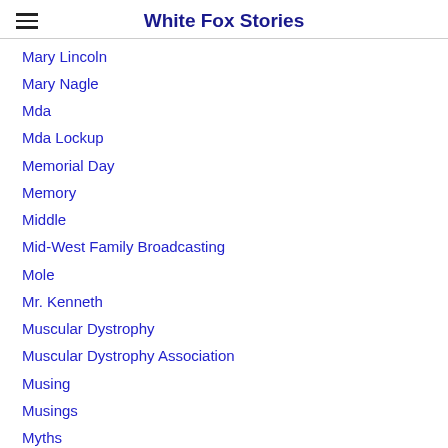White Fox Stories
Mary Lincoln
Mary Nagle
Mda
Mda Lockup
Memorial Day
Memory
Middle
Mid-West Family Broadcasting
Mole
Mr. Kenneth
Muscular Dystrophy
Muscular Dystrophy Association
Musing
Musings
Myths
National Cheesecake Day
Norse
Nourishing